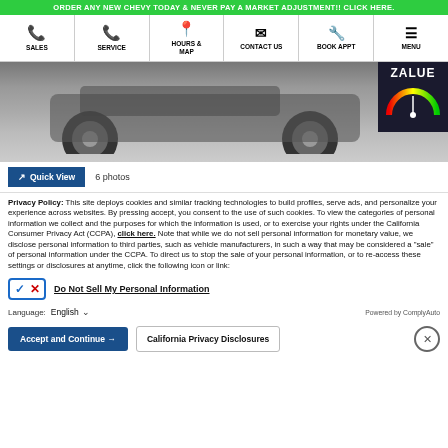ORDER ANY NEW CHEVY TODAY & NEVER PAY A MARKET ADJUSTMENT!! CLICK HERE.
[Figure (screenshot): Navigation bar with icons for SALES, SERVICE, HOURS & MAP, CONTACT US, BOOK APPT, MENU]
[Figure (photo): Car rear view photo with ZALUE badge overlay]
Quick View   6 photos
Privacy Policy: This site deploys cookies and similar tracking technologies to build profiles, serve ads, and personalize your experience across websites. By pressing accept, you consent to the use of such cookies. To view the categories of personal information we collect and the purposes for which the information is used, or to exercise your rights under the California Consumer Privacy Act (CCPA), click here. Note that while we do not sell personal information for monetary value, we disclose personal information to third parties, such as vehicle manufacturers, in such a way that may be considered a "sale" of personal information under the CCPA. To direct us to stop the sale of your personal information, or to re-access these settings or disclosures at anytime, click the following icon or link:
Do Not Sell My Personal Information
Language:   English   Powered by ComplyAuto
Accept and Continue →   California Privacy Disclosures